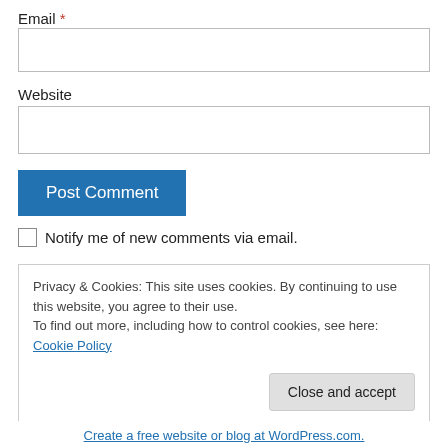Email *
Website
Post Comment
Notify me of new comments via email.
Privacy & Cookies: This site uses cookies. By continuing to use this website, you agree to their use. To find out more, including how to control cookies, see here: Cookie Policy
Close and accept
Create a free website or blog at WordPress.com.